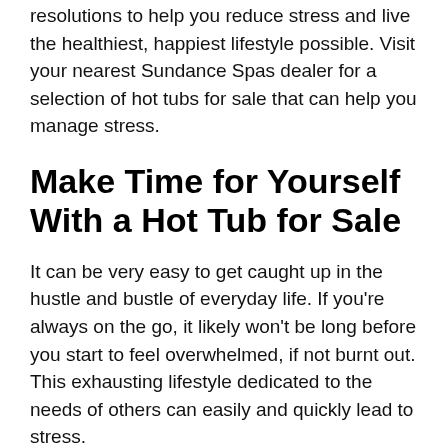resolutions to help you reduce stress and live the healthiest, happiest lifestyle possible. Visit your nearest Sundance Spas dealer for a selection of hot tubs for sale that can help you manage stress.
Make Time for Yourself With a Hot Tub for Sale
It can be very easy to get caught up in the hustle and bustle of everyday life. If you're always on the go, it likely won't be long before you start to feel overwhelmed, if not burnt out. This exhausting lifestyle dedicated to the needs of others can easily and quickly lead to stress.
Before committing yourself elsewhere, schedule in some time for yourself. This time can be used for